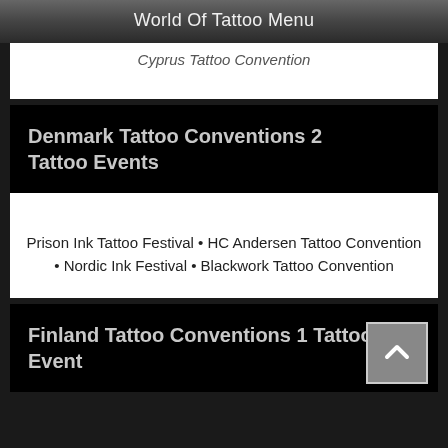World Of Tattoo Menu
Cyprus Tattoo Convention
Denmark Tattoo Conventions 2 Tattoo Events
Prison Ink Tattoo Festival • HC Andersen Tattoo Convention • Nordic Ink Festival • Blackwork Tattoo Convention
Finland Tattoo Conventions 1 Tattoo Event